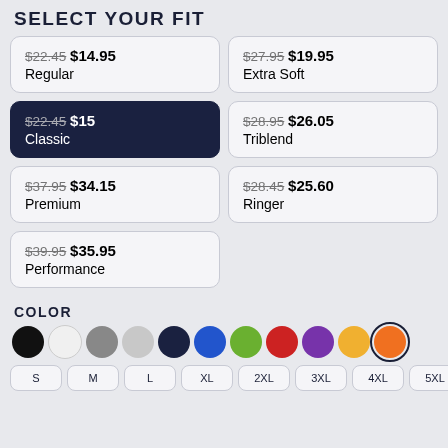SELECT YOUR FIT
$22.45 $14.95 Regular
$27.95 $19.95 Extra Soft
$22.45 $15 Classic (selected)
$28.95 $26.05 Triblend
$37.95 $34.15 Premium
$28.45 $25.60 Ringer
$39.95 $35.95 Performance
COLOR
[Figure (other): Color swatches: black, white, gray, light gray, dark navy, blue, green, red, purple, orange/yellow, orange (selected with border)]
[Figure (other): Size buttons: S, M, L, XL, 2XL, 3XL, 4XL, 5XL]